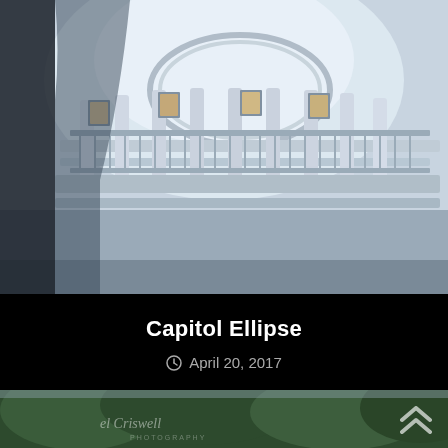[Figure (photo): Interior view looking up at a white ornate capitol building dome rotunda with columns, balconies, and portrait paintings on the walls, shot from a tilted angle.]
Capitol Ellipse
April 20, 2017
[Figure (photo): Harbor scene with a small white boat with solar panels in the foreground, a blue sailboat in the middle, dense green trees in the background, and a photographer's watermark 'Michael Criswell Photography'.]